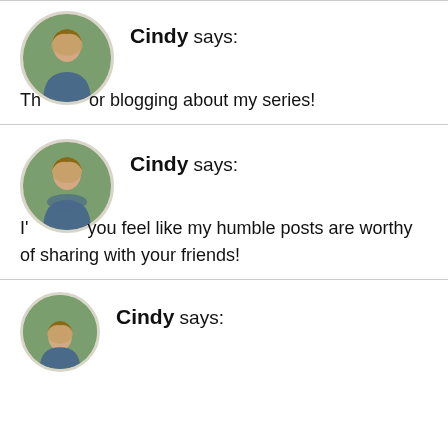Cindy says: Thanks for blogging about my series!
Cindy says: I'm glad you feel like my humble posts are worthy of sharing with your friends!
Cindy says: